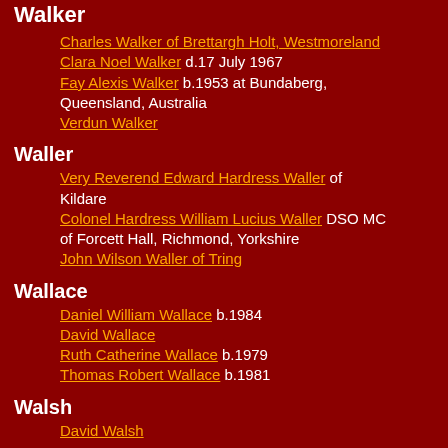Walker
Charles Walker of Brettargh Holt, Westmoreland
Clara Noel Walker d.17 July 1967
Fay Alexis Walker b.1953 at Bundaberg, Queensland, Australia
Verdun Walker
Waller
Very Reverend Edward Hardress Waller of Kildare
Colonel Hardress William Lucius Waller DSO MC of Forcett Hall, Richmond, Yorkshire
John Wilson Waller of Tring
Wallace
Daniel William Wallace b.1984
David Wallace
Ruth Catherine Wallace b.1979
Thomas Robert Wallace b.1981
Walsh
David Walsh